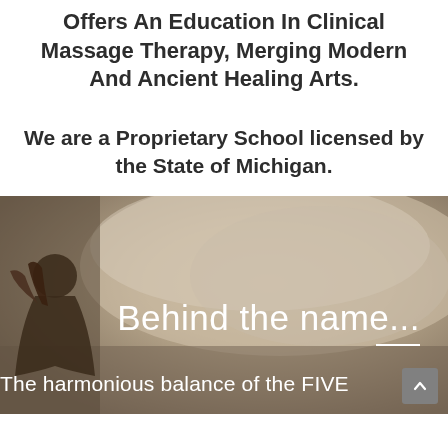Offers An Education In Clinical Massage Therapy, Merging Modern And Ancient Healing Arts.
We are a Proprietary School licensed by the State of Michigan.
[Figure (photo): Background photo showing a misty/smoky outdoor scene with a person (appearing to be praying or in a meditative pose) on the left side. Overlaid white text reads 'Behind the name...' with a short white horizontal line below it, and 'The harmonious balance of the FIVE' at the bottom. A grey scroll-to-top button is in the bottom right corner.]